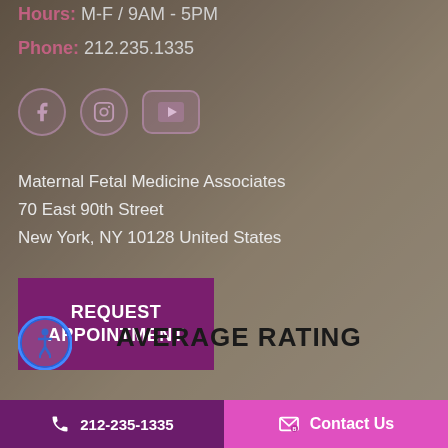Hours: M-F / 9AM - 5PM
Phone: 212.235.1335
[Figure (infographic): Social media icons: Facebook, Instagram, YouTube]
Maternal Fetal Medicine Associates
70 East 90th Street
New York, NY 10128 United States
REQUEST APPOINTMENT
AVERAGE RATING
212-235-1335   Contact Us